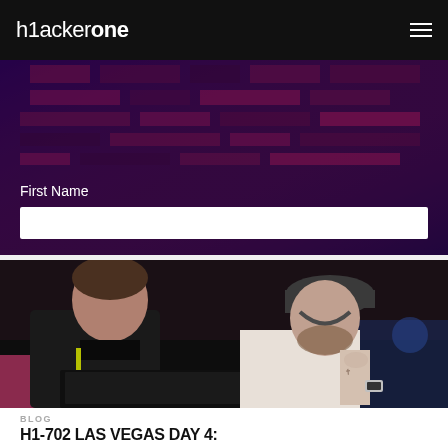hackerone
[Figure (screenshot): Dark purple and red background with a form section showing 'First Name' label and a white input field below it]
[Figure (photo): Two men looking at a laptop screen in a dark room. The man on the left is wearing a black jacket, the man on the right is wearing a cap and a sleeveless shirt with tattoos on his arm.]
BLOG
H1-702 LAS VEGAS DAY 4: